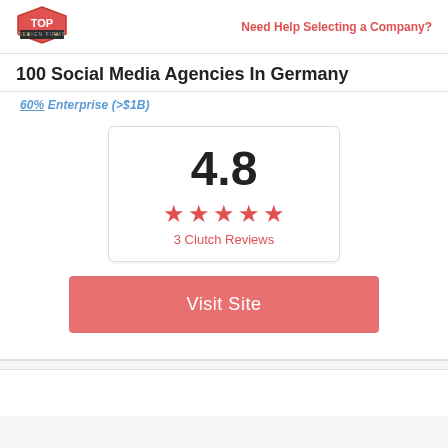[Figure (logo): Top Design Firms logo — red hexagon badge with crown icon and banner]
Need Help Selecting a Company?
100 Social Media Agencies In Germany
60% Enterprise (>$1B)
[Figure (infographic): Rating box showing 4.8 score, 5 red stars, and '3 Clutch Reviews' text]
Visit Site